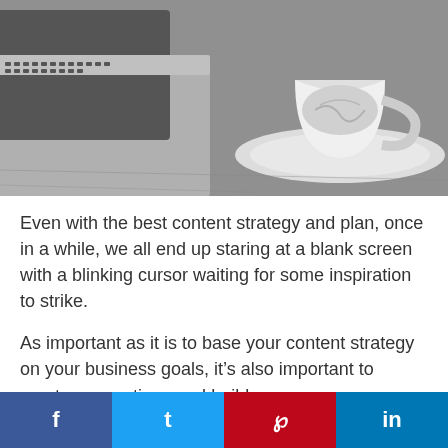[Figure (photo): Black and white photo of a laptop keyboard on the left and a coffee cup with latte art on a saucer on the right, placed on a wooden table surface.]
Even with the best content strategy and plan, once in a while, we all end up staring at a blank screen with a blinking cursor waiting for some inspiration to strike.
As important as it is to base your content strategy on your business goals, it’s also important to create connections and build
f  t  p  in